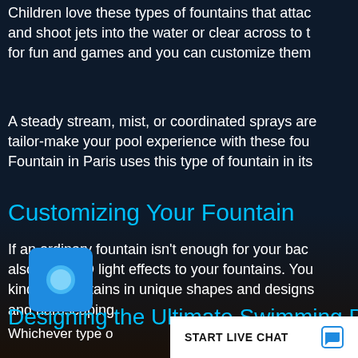Children love these types of fountains that attach and shoot jets into the water or clear across to f for fun and games and you can customize them
A steady stream, mist, or coordinated sprays are tailor-make your pool experience with these fou Fountain in Paris uses this type of fountain in its
Customizing Your Fountain
If an ordinary fountain isn't enough for your bac also add LED light effects to your fountains. You kinds of fountains in unique shapes and designs and hardscaping.
Designing the Ultimate Swimming Po
Whichever type o
[Figure (screenshot): Live chat widget at bottom of page showing 'START LIVE CHAT' button and a chat launcher icon in bottom left]